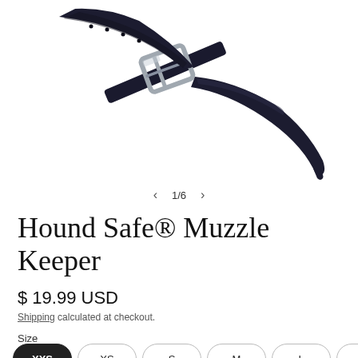[Figure (photo): A black leather muzzle keeper strap with a silver metal buckle, photographed against a white background. The strap is shown partially assembled with the buckle visible in the center and the strap tip pointing downward to the right.]
1/6
Hound Safe® Muzzle Keeper
$ 19.99 USD
Shipping calculated at checkout.
Size
XXS
XS
S
M
L
XL